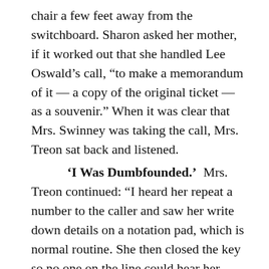chair a few feet away from the switchboard. Sharon asked her mother, if it worked out that she handled Lee Oswald’s call, “to make a memorandum of it — a copy of the original ticket — as a souvenir.” When it was clear that Mrs. Swinney was taking the call, Mrs. Treon sat back and listened.
‘I Was Dumbfounded.’ Mrs. Treon continued: “I heard her repeat a number to the caller and saw her write down details on a notation pad, which is normal routine. She then closed the key so no one on the line could hear her, then called the two